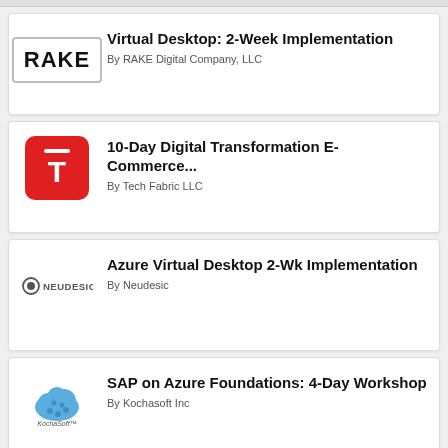[Figure (logo): RAKE Digital Company LLC logo — text 'RAKE' in bold with border box]
Virtual Desktop: 2-Week Implementation
By RAKE Digital Company, LLC
[Figure (logo): Tech Fabric LLC logo — red rounded square with white T letter and bar above]
10-Day Digital Transformation E-Commerce...
By Tech Fabric LLC
[Figure (logo): Neudesic logo — circle icon with 'NEUDESIC' text]
Azure Virtual Desktop 2-Wk Implementation
By Neudesic
[Figure (logo): KochaSoft Inc logo — blue cloud/gear icon with 'KochaSoft' text below]
SAP on Azure Foundations: 4-Day Workshop
By Kochasoft Inc